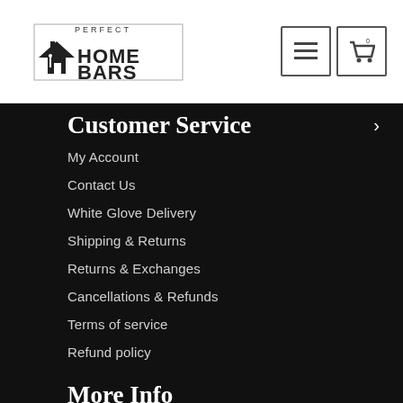Perfect Home Bars logo with navigation menu and cart buttons
Customer Service
My Account
Contact Us
White Glove Delivery
Shipping & Returns
Returns & Exchanges
Cancellations & Refunds
Terms of service
Refund policy
More Info
Blog
About Us